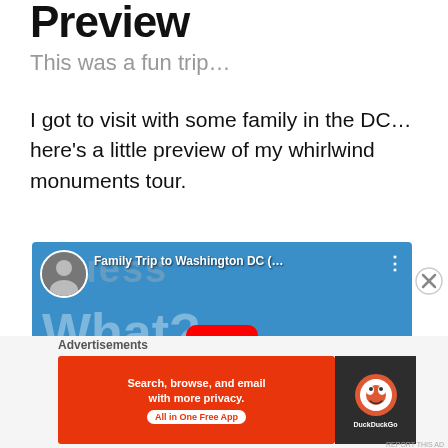Preview
This was a fun trip…
I got to visit with some family in the DC… here's a little preview of my whirlwind monuments tour.
[Figure (screenshot): YouTube video embed thumbnail showing 'Family Trip to Washington DC (…' with a play button, blue sky background and 'Guess What?' text overlay]
Advertisements
[Figure (screenshot): DuckDuckGo advertisement banner: 'Search, browse, and email with more privacy. All in One Free App' with DuckDuckGo logo]